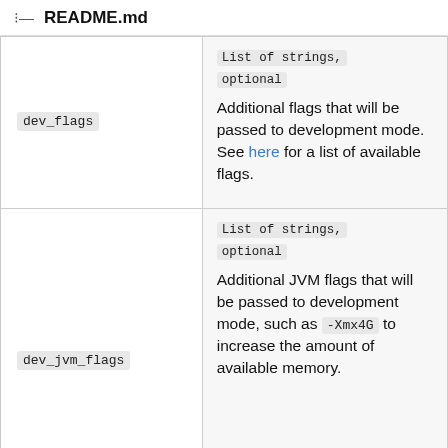README.md
| Attribute | Description |
| --- | --- |
| dev_flags | List of strings, optional
Additional flags that will be passed to development mode. See here for a list of available flags. |
| dev_jvm_flags | List of strings, optional
Additional JVM flags that will be passed to development mode, such as -Xmx4G to increase the amount of available memory. |